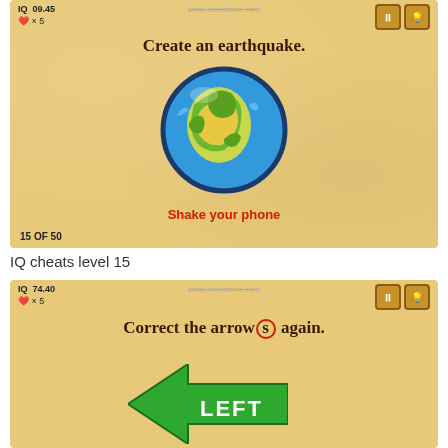[Figure (screenshot): Mobile game screenshot showing puzzle 'Create an earthquake.' with a globe illustration and text 'Shake your phone' in red, level indicator '15 OF 50']
IQ cheats level 15
[Figure (screenshot): Mobile game screenshot showing puzzle 'Correct the arrows again.' with a green LEFT arrow at bottom, IQ score 74.40, lives x5]